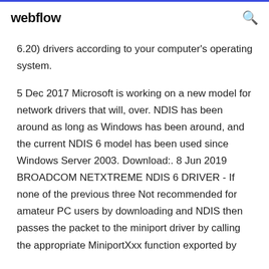webflow
6.20) drivers according to your computer's operating system.
5 Dec 2017 Microsoft is working on a new model for network drivers that will, over. NDIS has been around as long as Windows has been around, and the current NDIS 6 model has been used since Windows Server 2003. Download:. 8 Jun 2019 BROADCOM NETXTREME NDIS 6 DRIVER - If none of the previous three Not recommended for amateur PC users by downloading and NDIS then passes the packet to the miniport driver by calling the appropriate MiniportXxx function exported by